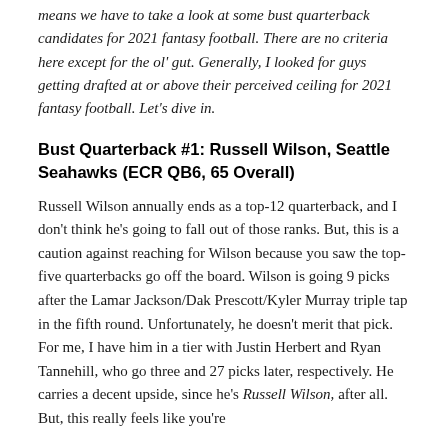means we have to take a look at some bust quarterback candidates for 2021 fantasy football. There are no criteria here except for the ol' gut. Generally, I looked for guys getting drafted at or above their perceived ceiling for 2021 fantasy football. Let's dive in.
Bust Quarterback #1: Russell Wilson, Seattle Seahawks (ECR QB6, 65 Overall)
Russell Wilson annually ends as a top-12 quarterback, and I don't think he's going to fall out of those ranks. But, this is a caution against reaching for Wilson because you saw the top-five quarterbacks go off the board. Wilson is going 9 picks after the Lamar Jackson/Dak Prescott/Kyler Murray triple tap in the fifth round. Unfortunately, he doesn't merit that pick. For me, I have him in a tier with Justin Herbert and Ryan Tannehill, who go three and 27 picks later, respectively. He carries a decent upside, since he's Russell Wilson, after all. But, this really feels like you're